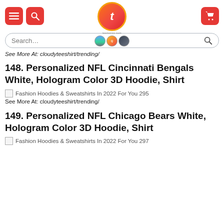[Figure (logo): Teezonics website header with red menu and search buttons, orange/red circular logo with 't' letter in center, and three small badge icons below]
[Figure (screenshot): Search bar with 'Search...' placeholder text and magnifying glass icon, rounded border style]
See More At: cloudyteeshirt/trending/
148. Personalized NFL Cincinnati Bengals White, Hologram Color 3D Hoodie, Shirt
[Figure (illustration): Broken image icon with alt text: Fashion Hoodies & Sweatshirts In 2022 For You 295]
See More At: cloudyteeshirt/trending/
149. Personalized NFL Chicago Bears White, Hologram Color 3D Hoodie, Shirt
[Figure (illustration): Broken image icon with alt text: Fashion Hoodies & Sweatshirts In 2022 For You 297 (partially visible)]